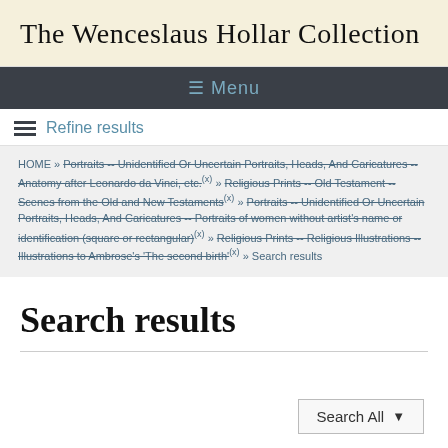The Wenceslaus Hollar Collection
≡ Menu
Refine results
HOME » Portraits -- Unidentified Or Uncertain Portraits, Heads, And Caricatures -- Anatomy after Leonardo da Vinci, etc.(x) » Religious Prints -- Old Testament -- Scenes from the Old and New Testaments(x) » Portraits -- Unidentified Or Uncertain Portraits, Heads, And Caricatures -- Portraits of women without artist's name or identification (square or rectangular)(x) » Religious Prints -- Religious Illustrations -- Illustrations to Ambrose's 'The second birth'(x) » Search results
Search results
Search All